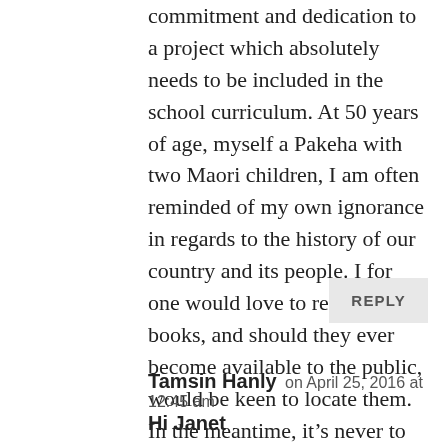commitment and dedication to a project which absolutely needs to be included in the school curriculum. At 50 years of age, myself a Pakeha with two Maori children, I am often reminded of my own ignorance in regards to the history of our country and its people. I for one would love to read her books, and should they ever become available to the public, would be keen to locate them. In the meantime, it's never to late to gain knowledge, so have registered for a Te Reo course as a stepping stone on my own oath.
REPLY
Tamsin Hanly on April 25, 2016 at 12:45 am
Hi Janet